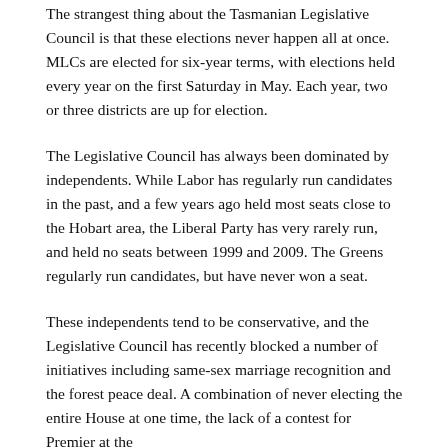The strangest thing about the Tasmanian Legislative Council is that these elections never happen all at once. MLCs are elected for six-year terms, with elections held every year on the first Saturday in May. Each year, two or three districts are up for election.
The Legislative Council has always been dominated by independents. While Labor has regularly run candidates in the past, and a few years ago held most seats close to the Hobart area, the Liberal Party has very rarely run, and held no seats between 1999 and 2009. The Greens regularly run candidates, but have never won a seat.
These independents tend to be conservative, and the Legislative Council has recently blocked a number of initiatives including same-sex marriage recognition and the forest peace deal. A combination of never electing the entire House at one time, the lack of a contest for Premier at the